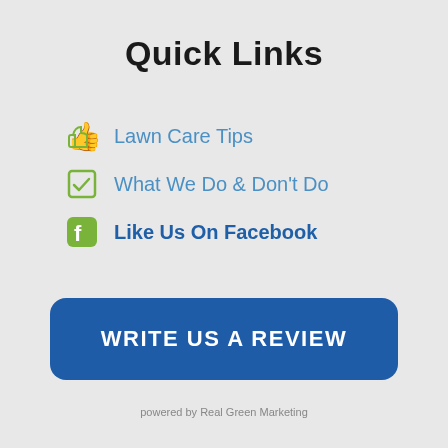Quick Links
Lawn Care Tips
What We Do & Don't Do
Like Us On Facebook
WRITE US A REVIEW
powered by Real Green Marketing